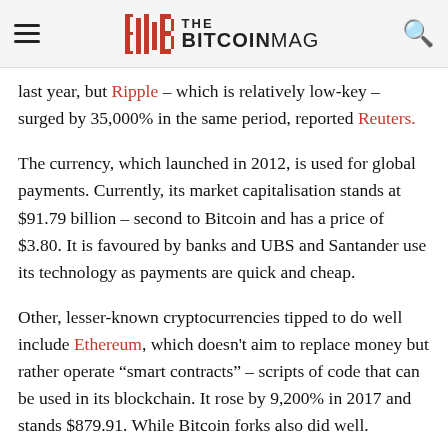THE BITCOINMAG
last year, but Ripple – which is relatively low-key – surged by 35,000% in the same period, reported Reuters.
The currency, which launched in 2012, is used for global payments. Currently, its market capitalisation stands at $91.79 billion – second to Bitcoin and has a price of $3.80. It is favoured by banks and UBS and Santander use its technology as payments are quick and cheap.
Other, lesser-known cryptocurrencies tipped to do well include Ethereum, which doesn't aim to replace money but rather operate "smart contracts" – scripts of code that can be used in its blockchain. It rose by 9,200% in 2017 and stands $879.91. While Bitcoin forks also did well.
A Bitcoin fork is when miners agree certain changes to